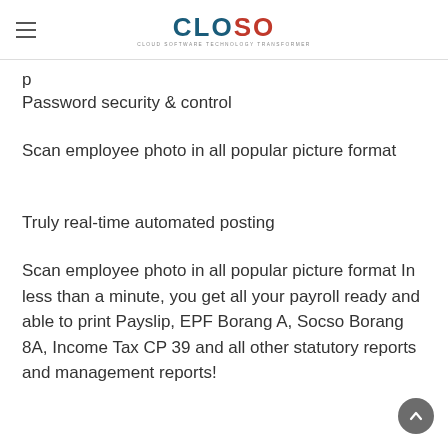CLOSO CLOUD SOFTWARE TECHNOLOGY TRANSFORMER
Password security & control
Scan employee photo in all popular picture format
Truly real-time automated posting
Scan employee photo in all popular picture format In less than a minute, you get all your payroll ready and able to print Payslip, EPF Borang A, Socso Borang 8A, Income Tax CP 39 and all other statutory reports and management reports!